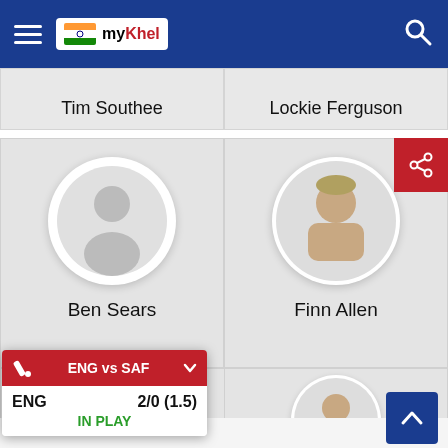[Figure (screenshot): myKhel sports app navigation bar with hamburger menu, Indian flag logo, and search icon on blue background]
Tim Southee
Lockie Ferguson
Ben Sears
[Figure (photo): Cricket player profile photo of Finn Allen in circular frame]
Finn Allen
[Figure (infographic): ENG vs SAF live cricket score widget showing ENG 2/0 (1.5) IN PLAY]
[Figure (photo): Cricket player profile photo in circular frame at bottom right]